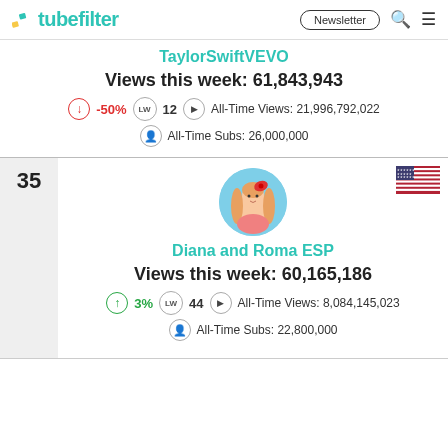tubefilter — Newsletter
TaylorSwiftVEVO
Views this week: 61,843,943
-50%  LW 12  All-Time Views: 21,996,792,022  All-Time Subs: 26,000,000
35
Diana and Roma ESP
Views this week: 60,165,186
3%  LW 44  All-Time Views: 8,084,145,023  All-Time Subs: 22,800,000